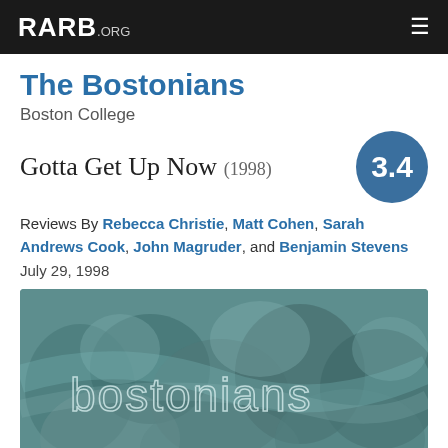RARB.ORG
The Bostonians
Boston College
Gotta Get Up Now (1998)  3.4
Reviews By Rebecca Christie, Matt Cohen, Sarah Andrews Cook, John Magruder, and Benjamin Stevens
July 29, 1998
[Figure (photo): Album cover art showing teal/blue-green floral or organic shapes with the text 'bostonians' in a light outlined font overlay]